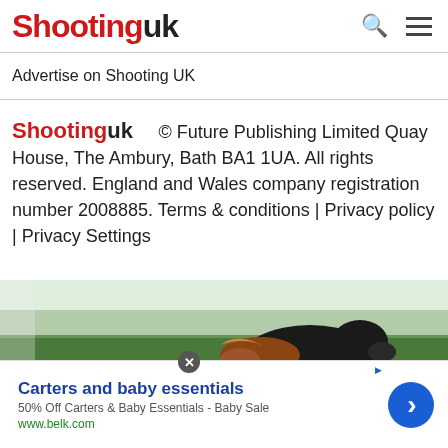Shooting uk
Advertise on Shooting UK
Shooting uk  © Future Publishing Limited Quay House, The Ambury, Bath BA1 1UA. All rights reserved. England and Wales company registration number 2008885. Terms & conditions | Privacy policy | Privacy Settings
[Figure (photo): Black Labrador dog retrieving a pheasant in a green field, outdoor countryside setting]
Carters and baby essentials
50% Off Carters & Baby Essentials - Baby Sale
www.belk.com